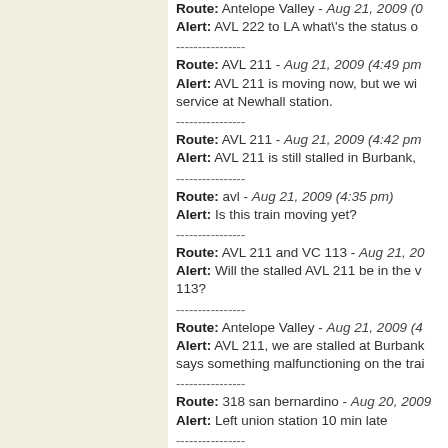Route: Antelope Valley - Aug 21, 2009 (... Alert: AVL 222 to LA what's the status of...
Route: AVL 211 - Aug 21, 2009 (4:49 pm) Alert: AVL 211 is moving now, but we wi... service at Newhall station.
Route: AVL 211 - Aug 21, 2009 (4:42 pm) Alert: AVL 211 is still stalled in Burbank,
Route: avl - Aug 21, 2009 (4:35 pm) Alert: Is this train moving yet?
Route: AVL 211 and VC 113 - Aug 21, 20... Alert: Will the stalled AVL 211 be in the v... 113?
Route: Antelope Valley - Aug 21, 2009 (4... Alert: AVL 211, we are stalled at Burbank... says something malfunctioning on the trai...
Route: 318 san bernardino - Aug 20, 2009... Alert: Left union station 10 min late
Route: AVL 213 - Aug 19, 2009 (5:11 pm... Alert: Our train #213 is having issues. W...